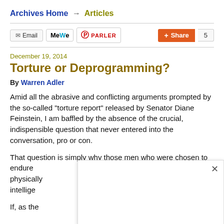Archives Home → Articles
Email  MeWe  PARLER  Share  5
December 19, 2014
Torture or Deprogramming?
By Warren Adler
Amid all the abrasive and conflicting arguments prompted by the so-called "torture report" released by Senator Diane Feinstein, I am baffled by the absence of the crucial, indispensible question that never entered into the conversation, pro or con.
That question is simply why those men who were chosen to endure [obscured] ess physically [obscured] ital intelige [obscured] cks.
If, as the